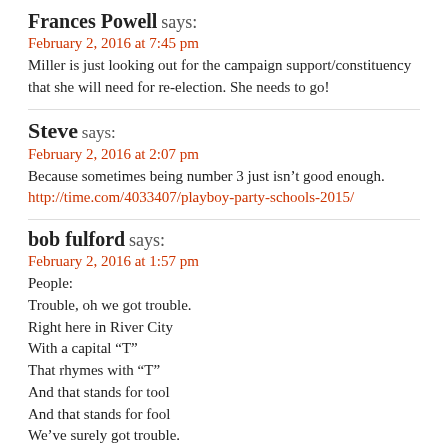Frances Powell says:
February 2, 2016 at 7:45 pm
Miller is just looking out for the campaign support/constituency that she will need for re-election. She needs to go!
Steve says:
February 2, 2016 at 2:07 pm
Because sometimes being number 3 just isn't good enough.
http://time.com/4033407/playboy-party-schools-2015/
bob fulford says:
February 2, 2016 at 1:57 pm
People:
Trouble, oh we got trouble.
Right here in River City
With a capital “T”
That rhymes with “T”
And that stands for tool
And that stands for fool
We’ve surely got trouble.
Philip Pitts says:
February 2, 2016 at 12:34 pm
Both the City and County Commission has been corrupt for a very long time. These commissioners and others keep getting re-elected over and